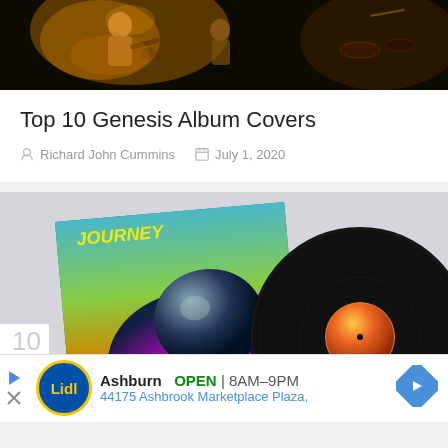[Figure (photo): Concert photo showing musicians performing on stage with dramatic lighting, dark background]
Top 10 Genesis Album Covers
Richard John Cummins   July 1, 2020
[Figure (photo): Vinyl record leaning against an album cover with colorful cosmic/nebula artwork. Album appears to be Journey's Escape, showing a black vinyl record and the colorful album sleeve.]
10
Ashburn  OPEN  8AM–9PM  44175 Ashbrook Marketplace Plaza,